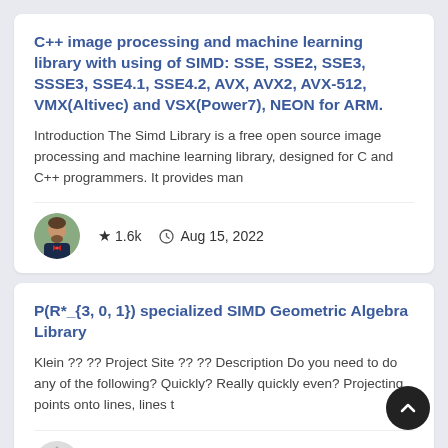C++ image processing and machine learning library with using of SIMD: SSE, SSE2, SSE3, SSSE3, SSE4.1, SSE4.2, AVX, AVX2, AVX-512, VMX(Altivec) and VSX(Power7), NEON for ARM.
Introduction The Simd Library is a free open source image processing and machine learning library, designed for C and C++ programmers. It provides man
★ 1.6k   Aug 15, 2022
P(R*_{3, 0, 1}) specialized SIMD Geometric Algebra Library
Klein ?? ?? Project Site ?? ?? Description Do you need to do any of the following? Quickly? Really quickly even? Projecting points onto lines, lines t
★ 607   Aug 16, 2022